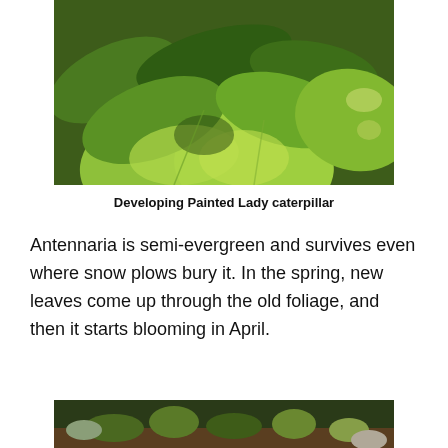[Figure (photo): Close-up photograph of large green leaves, likely hosta or similar plant foliage, with varying shades of green and some leaf damage visible.]
Developing Painted Lady caterpillar
Antennaria is semi-evergreen and survives even where snow plows bury it. In the spring, new leaves come up through the old foliage, and then it starts blooming in April.
[Figure (photo): Partial photograph of plants growing in a garden with soil and a rock visible, partially cut off at the bottom of the page.]